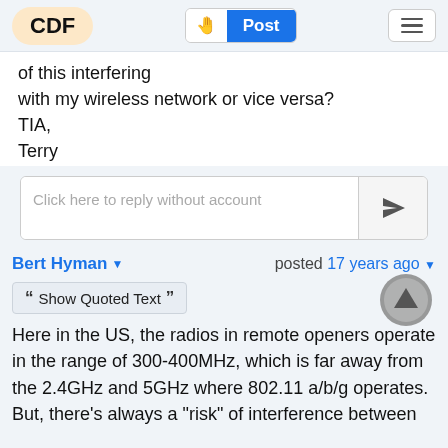CDF  Post
of this interfering
with my wireless network or vice versa?
TIA,
Terry
Click here to reply without account
Bert Hyman  posted 17 years ago
Show Quoted Text
Here in the US, the radios in remote openers operate in the range of 300-400MHz, which is far away from the 2.4GHz and 5GHz where 802.11 a/b/g operates.
But, there's always a "risk" of interference between